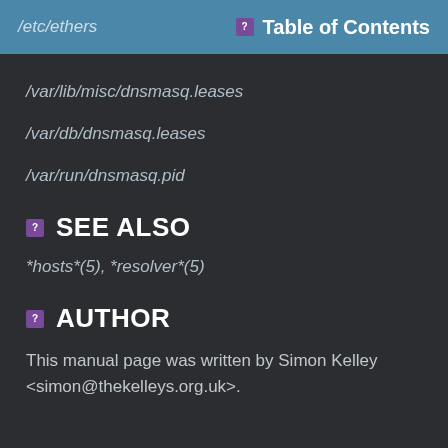/etc/ethers   Table of Contents
/var/lib/misc/dnsmasq.leases
/var/db/dnsmasq.leases
/var/run/dnsmasq.pid
SEE ALSO
*hosts*(5), *resolver*(5)
AUTHOR
This manual page was written by Simon Kelley <simon@thekelleys.org.uk>.